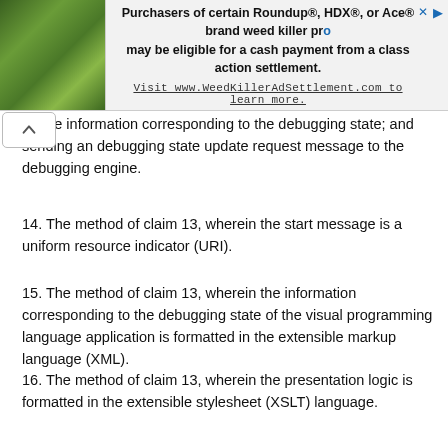[Figure (other): Advertisement banner with plant/flower image on left and text about Roundup class action settlement on right]
nd the information corresponding to the debugging state; and sending an debugging state update request message to the debugging engine.
14. The method of claim 13, wherein the start message is a uniform resource indicator (URI).
15. The method of claim 13, wherein the information corresponding to the debugging state of the visual programming language application is formatted in the extensible markup language (XML).
16. The method of claim 13, wherein the presentation logic is formatted in the extensible stylesheet (XSLT) language.
17. The method of claim 13, wherein the method is performed by a World Wide Web browser.
18. The method of claim 13, wherein the image file further comprises one or more graphical images corresponding to the visual programming language